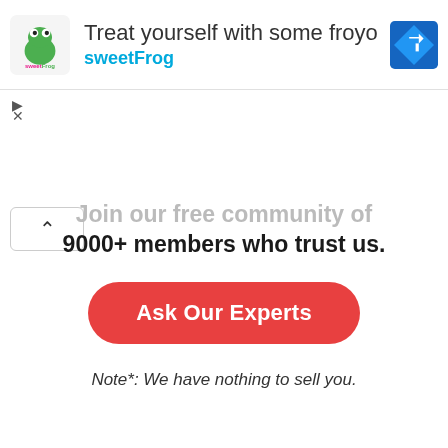[Figure (screenshot): sweetFrog advertisement banner with logo, headline 'Treat yourself with some froyo', brand name 'sweetFrog', and a blue diamond navigation icon]
Join our free community of 9000+ members who trust us.
Ask Our Experts
Note*: We have nothing to sell you.